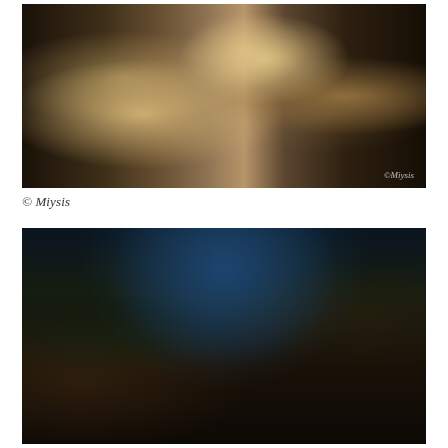[Figure (photo): Architectural interior render of a modern dark luxury bedroom with warm lighting, a low platform bed with dark navy bedding and white pillows, cream curtains, wooden floor, hanging pendant lights, and a sitting area with a white chair and round table. Watermark 'Miysis' in bottom right corner.]
© Miysis
[Figure (photo): Dark, moody interior render of an eclectic bedroom-library with floor-to-ceiling bookshelves filled with colorful books, a dramatic dark cloudy sky mural on the ceiling, a black-and-white portrait artwork on the wall, a striped bedspread, and a cluttered desk with various objects. Very dark atmospheric lighting.]